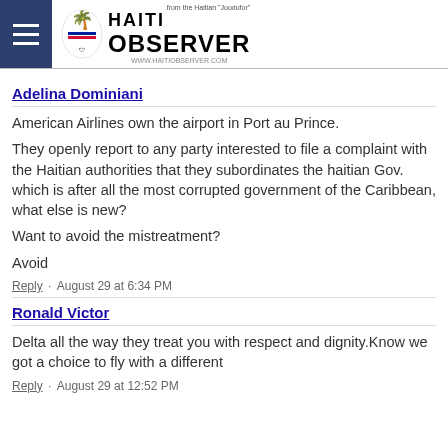Haiti Observer
Adelina Dominiani
American Airlines own the airport in Port au Prince.
They openly report to any party interested to file a complaint with the Haitian authorities that they subordinates the haitian Gov. which is after all the most corrupted government of the Caribbean, what else is new?
Want to avoid the mistreatment?
Avoid
Reply · August 29 at 6:34 PM
Ronald Victor
Delta all the way they treat you with respect and dignity.Know we got a choice to fly with a different
Reply · August 29 at 12:52 PM